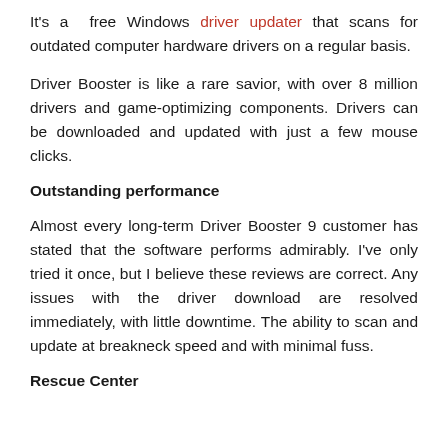It's a free Windows driver updater that scans for outdated computer hardware drivers on a regular basis.
Driver Booster is like a rare savior, with over 8 million drivers and game-optimizing components. Drivers can be downloaded and updated with just a few mouse clicks.
Outstanding performance
Almost every long-term Driver Booster 9 customer has stated that the software performs admirably. I've only tried it once, but I believe these reviews are correct. Any issues with the driver download are resolved immediately, with little downtime. The ability to scan and update at breakneck speed and with minimal fuss.
Rescue Center